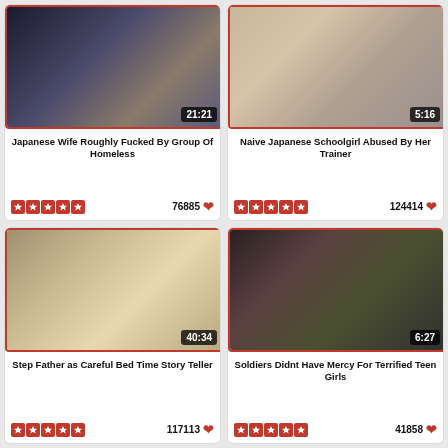[Figure (photo): Video thumbnail showing people in a room, duration 21:21]
Japanese Wife Roughly Fucked By Group Of Homeless
76885 likes, 5 stars rating
[Figure (photo): Video thumbnail showing people in a gym/sports hall, duration 5:16]
Naive Japanese Schoolgirl Abused By Her Trainer
124414 likes, 5 stars rating
[Figure (photo): Video thumbnail showing people in a traditional Japanese room, duration 40:34]
Step Father as Careful Bed Time Story Teller
117113 likes, 5 stars rating
[Figure (photo): Video thumbnail showing group of people in a dark room, duration 6:27]
Soldiers Didnt Have Mercy For Terrified Teen Girls
41858 likes, 5 stars rating